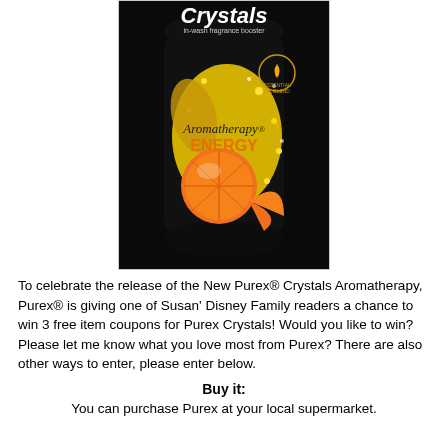[Figure (photo): Purex Crystals Aromatherapy Energy in-wash fragrance booster bottle. Black bottle with yellow crystals and orange/citrus imagery, with text 'Aromatherapy ENERGY' on the label.]
To celebrate the release of the New Purex® Crystals Aromatherapy, Purex® is giving one of Susan' Disney Family readers a chance to win 3 free item coupons for Purex Crystals! Would you like to win? Please let me know what you love most from Purex? There are also other ways to enter, please enter below.
Buy it:
You can purchase Purex at your local supermarket.